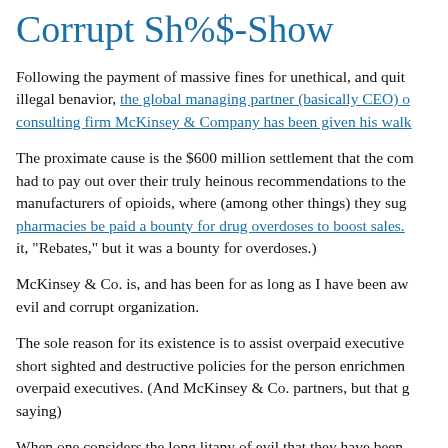Corrupt Sh%$-Show
Following the payment of massive fines for unethical, and quite illegal benavior, the global managing partner (basically CEO) of consulting firm McKinsey & Company has been given his walk…
The proximate cause is the $600 million settlement that the company had to pay out over their truly heinous recommendations to the manufacturers of opioids, where (among other things) they suggested pharmacies be paid a bounty for drug overdoses to boost sales. (They called it, "Rebates," but it was a bounty for overdoses.)
McKinsey & Co. is, and has been for as long as I have been aware of it, an evil and corrupt organization.
The sole reason for its existence is to assist overpaid executives implement short sighted and destructive policies for the person enrichment of those overpaid executives. (And McKinsey & Co. partners, but that goes without saying)
When one considers the long litany of evil that they have been involved with, mass layoffs, excessive CEO pay, facilitating corruption i…